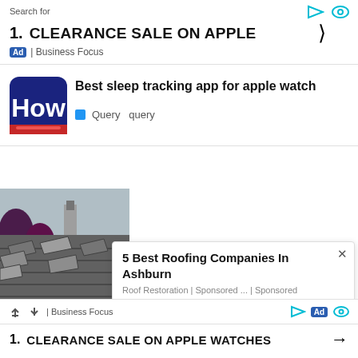Search for
1. CLEARANCE SALE ON APPLE
Ad | Business Focus
Best sleep tracking app for apple watch
Query  query
[Figure (photo): Damaged roofing tiles on a house]
5 Best Roofing Companies In Ashburn
Roof Restoration | Sponsored ... | Sponsored
| Business Focus
1. CLEARANCE SALE ON APPLE WATCHES